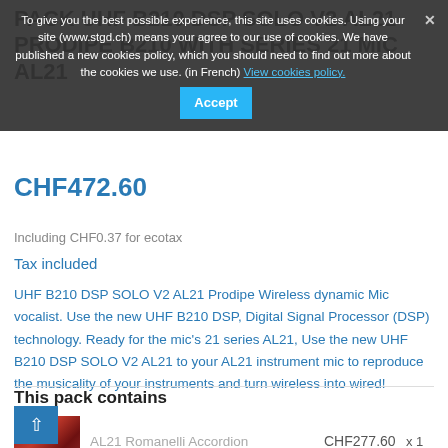PACK UHF B210 DSP SOLO V2 AL21 PRODIPE B210 WITH SERIES 21 MIC AL21
CHF472.60
Including CHF0.37 for ecotax
Tax included
UHF B210 DSP SOLO V2 AL21 Prodipe Wireless dynamic Mic vocalist. Use the new UHF B210 DSP, Digital Signal Processor (DSP) technology. Ready for the mic's 21 series AL21, Use the new UHF B210 DSP SOLO V2 AL21 to your AL21 instrument mic to reproduce the musicality of your instruments and turn wireless into wired!
This pack contains
AL21 Romanelli Accordion
CHF277.60
x 1